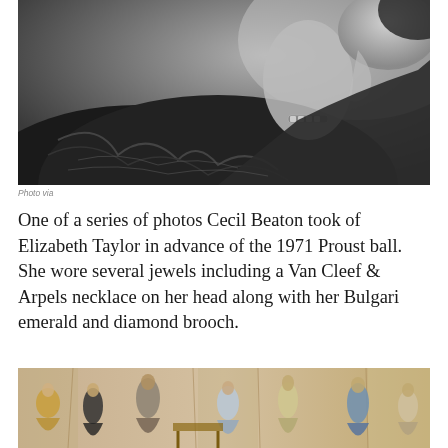[Figure (photo): Black and white photograph of a woman (Elizabeth Taylor) in profile, wearing a dark gown with ruffled details, a bracelet visible on her wrist, shot from a low angle.]
Photo via
One of a series of photos Cecil Beaton took of Elizabeth Taylor in advance of the 1971 Proust ball. She wore several jewels including a Van Cleef & Arpels necklace on her head along with her Bulgari emerald and diamond brooch.
[Figure (photo): Color photograph of a group of elegantly dressed women in a grand ballroom interior, wearing ball gowns in various colors including gold, black, and blue, in an Art Nouveau decorated room.]